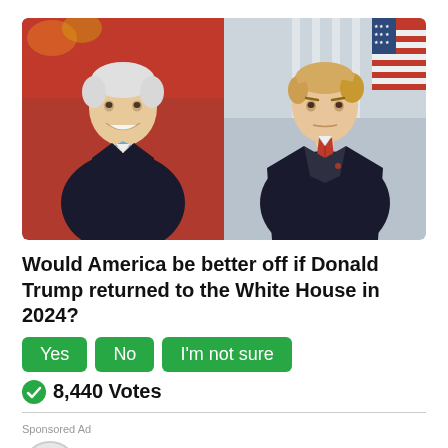[Figure (photo): Split photo showing Joe Biden (left) smiling at a podium with microphones in front of a red backdrop, and Donald Trump (right) in a dark suit with a red tie in front of what appears to be the White House.]
Would America be better off if Donald Trump returned to the White House in 2024?
Yes   No   I'm not sure
8,440 Votes
Sponsored Ad